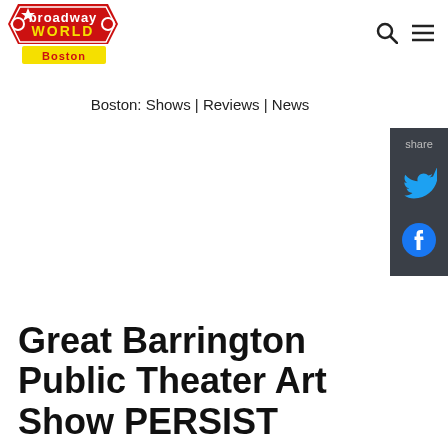[Figure (logo): BroadwayWorld Boston logo — red ticket-shaped graphic with 'broadway WORLD' text in white/yellow and 'Boston' label below]
Boston: Shows | Reviews | News
Great Barrington Public Theater Art Show PERSIST